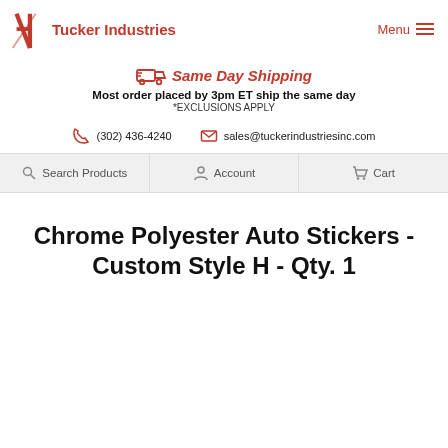Tucker Industries — Menu
Same Day Shipping — Most order placed by 3pm ET ship the same day *EXCLUSIONS APPLY
(302) 436-4240   sales@tuckerindustriesinc.com
Search Products   Account   Cart
Chrome Polyester Auto Stickers - Custom Style H - Qty. 1